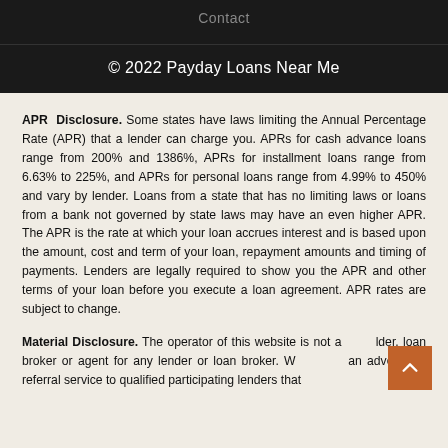Contact
© 2022 Payday Loans Near Me
APR Disclosure. Some states have laws limiting the Annual Percentage Rate (APR) that a lender can charge you. APRs for cash advance loans range from 200% and 1386%, APRs for installment loans range from 6.63% to 225%, and APRs for personal loans range from 4.99% to 450% and vary by lender. Loans from a state that has no limiting laws or loans from a bank not governed by state laws may have an even higher APR. The APR is the rate at which your loan accrues interest and is based upon the amount, cost and term of your loan, repayment amounts and timing of payments. Lenders are legally required to show you the APR and other terms of your loan before you execute a loan agreement. APR rates are subject to change.
Material Disclosure. The operator of this website is not a lender, loan broker or agent for any lender or loan broker. We are an advertising referral service to qualified participating lenders that